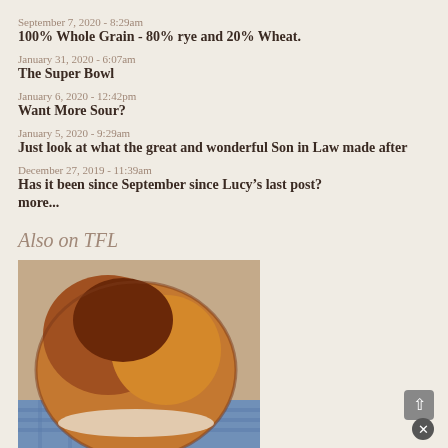September 7, 2020 - 8:29am
100% Whole Grain - 80% rye and 20% Wheat.
January 31, 2020 - 6:07am
The Super Bowl
January 6, 2020 - 12:42pm
Want More Sour?
January 5, 2020 - 9:29am
Just look at what the great and wonderful Son in Law made after
December 27, 2019 - 11:39am
Has it been since September since Lucy’s last post?
more...
Also on TFL
[Figure (photo): Photo of a round artisan bread loaf, golden-brown with rustic crust, sitting on a blue patterned cloth/tablecloth]
Pane Tipo di Altamura - March 31, 2016